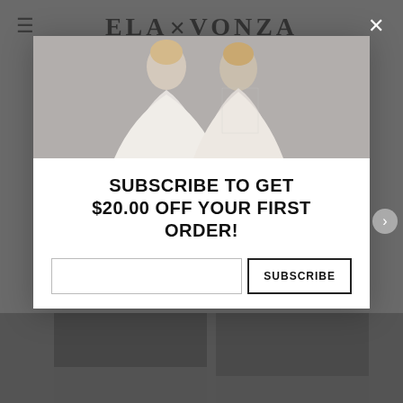ELAVONZA
[Figure (photo): Two women in white wedding/bridal gowns standing together against a grey wall background]
SUBSCRIBE TO GET $20.00 OFF YOUR FIRST ORDER!
Email input field and SUBSCRIBE button
[Figure (photo): Bottom portion of dark/black dresses partially visible at bottom of page behind modal overlay]